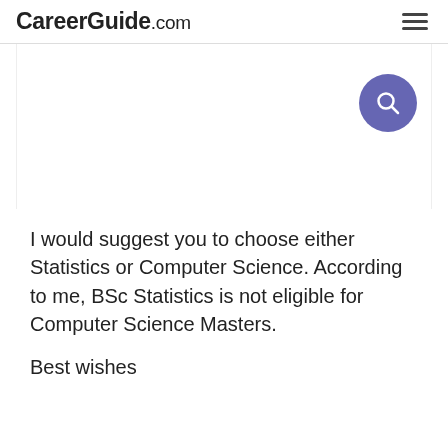CareerGuide.com
[Figure (other): Search icon button — a circular purple/indigo button with a white magnifying glass icon]
I would suggest you to choose either Statistics or Computer Science. According to me, BSc Statistics is not eligible for Computer Science Masters.

Best wishes